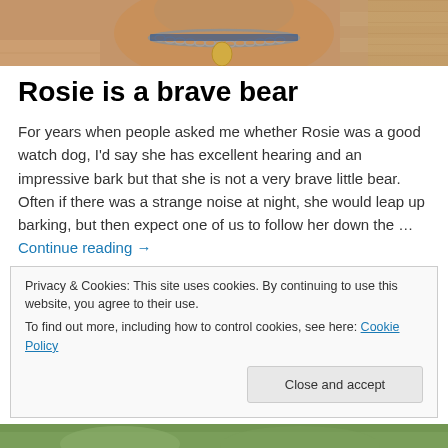[Figure (photo): Close-up photo of a dog (Rosie) wearing a chain collar with a tag, brick wall visible in background]
Rosie is a brave bear
For years when people asked me whether Rosie was a good watch dog, I'd say she has excellent hearing and an impressive bark but that she is not a very brave little bear. Often if there was a strange noise at night, she would leap up barking, but then expect one of us to follow her down the … Continue reading →
Privacy & Cookies: This site uses cookies. By continuing to use this website, you agree to their use.
To find out more, including how to control cookies, see here: Cookie Policy
[Figure (photo): Partial photo at bottom of page, appears to show a dog on a green surface]